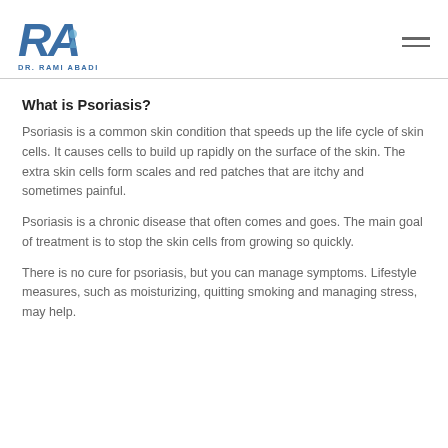[Figure (logo): DR. RAMI ABADI logo with stylized RA letters in blue]
What is Psoriasis?
Psoriasis is a common skin condition that speeds up the life cycle of skin cells. It causes cells to build up rapidly on the surface of the skin. The extra skin cells form scales and red patches that are itchy and sometimes painful.
Psoriasis is a chronic disease that often comes and goes. The main goal of treatment is to stop the skin cells from growing so quickly.
There is no cure for psoriasis, but you can manage symptoms. Lifestyle measures, such as moisturizing, quitting smoking and managing stress, may help.